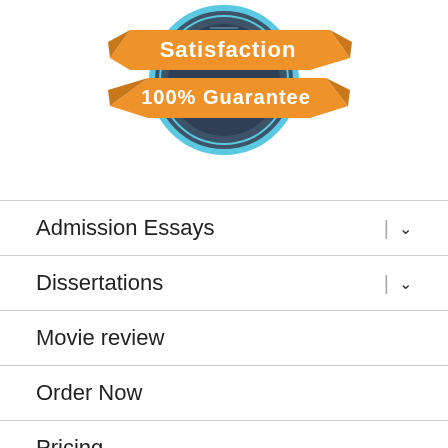[Figure (illustration): Satisfaction 100% Guarantee badge/seal with orange ribbon banners and a dark circular emblem with light blue ring]
Admission Essays
Dissertations
Movie review
Order Now
Pricing